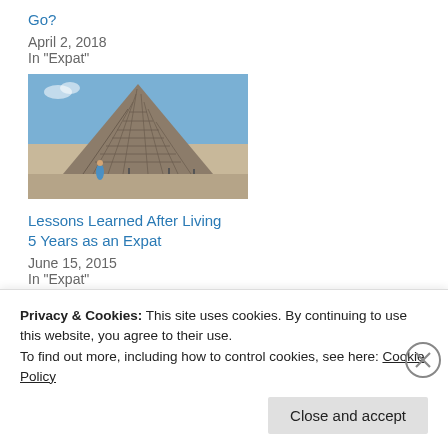Go?
April 2, 2018
In "Expat"
[Figure (photo): Photo of a Mayan pyramid (Chichen Itza) under blue sky with a person standing in front]
Lessons Learned After Living 5 Years as an Expat
June 15, 2015
In "Expat"
Tags: Expat, how to become an international teacher, International
Privacy & Cookies: This site uses cookies. By continuing to use this website, you agree to their use.
To find out more, including how to control cookies, see here: Cookie Policy
Close and accept